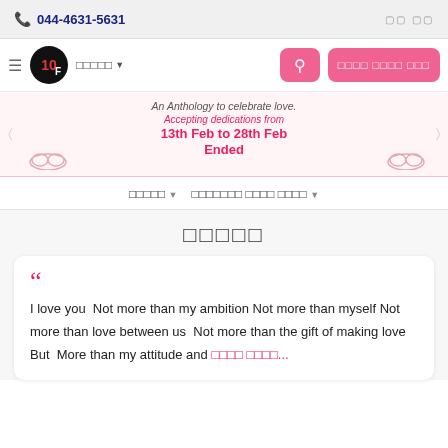044-4631-5631
[Figure (logo): 10F logo in black circle with red 10 and white F]
ஒளிரும் ▼
An Anthology to celebrate love.
Accepting dedications from
13th Feb to 28th Feb
Ended
சொல்லலா ▼   தமிழில் எழுத வேண்டும் ▼
கவிதை
I love you  Not more than my ambition Not more than myself Not more than love between us  Not more than the gift of making love  But  More than my attitude and  இன்னும் படிக்க...